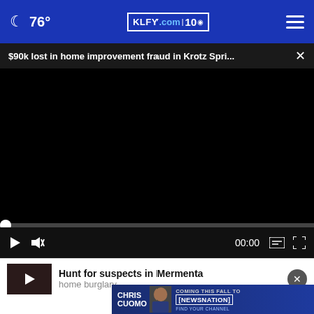🌙 76° | KLFY.com 10
$90k lost in home improvement fraud in Krotz Spri... ×
[Figure (screenshot): Black video player area with progress bar and controls showing 00:00 timestamp, play button, mute button, captions, and fullscreen button]
Hunt for suspects in Mermenta home burglary
[Figure (screenshot): Advertisement banner: Chris Cuomo - Coming This Fall To NewsNation - Find Your Channel]